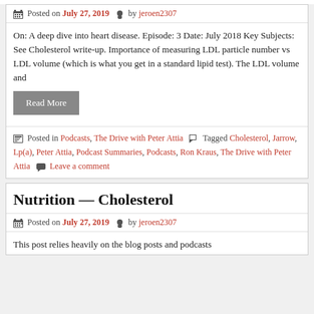Posted on July 27, 2019 by jeroen2307
On: A deep dive into heart disease. Episode: 3 Date: July 2018 Key Subjects: See Cholesterol write-up. Importance of measuring LDL particle number vs LDL volume (which is what you get in a standard lipid test). The LDL volume and
Read More
Posted in Podcasts, The Drive with Peter Attia  Tagged Cholesterol, Jarrow, Lp(a), Peter Attia, Podcast Summaries, Podcasts, Ron Kraus, The Drive with Peter Attia  Leave a comment
Nutrition — Cholesterol
Posted on July 27, 2019 by jeroen2307
This post relies heavily on the blog posts and podcasts